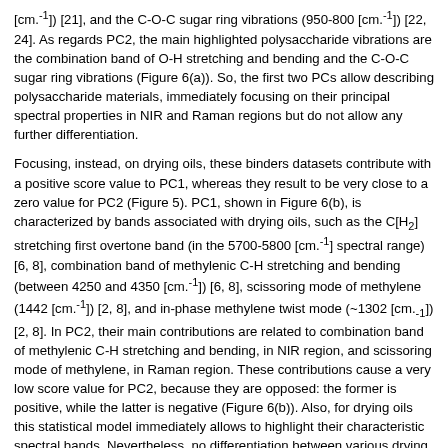[cm.sup.-1]) [21], and the C-O-C sugar ring vibrations (950-800 [cm.sup.-1]) [22, 24]. As regards PC2, the main highlighted polysaccharide vibrations are the combination band of O-H stretching and bending and the C-O-C sugar ring vibrations (Figure 6(a)). So, the first two PCs allow describing polysaccharide materials, immediately focusing on their principal spectral properties in NIR and Raman regions but do not allow any further differentiation.
Focusing, instead, on drying oils, these binders datasets contribute with a positive score value to PC1, whereas they result to be very close to a zero value for PC2 (Figure 5). PC1, shown in Figure 6(b), is characterized by bands associated with drying oils, such as the C[H.sub.2] stretching first overtone band (in the 5700-5800 [cm.sup.-1] spectral range) [6, 8], combination band of methylenic C-H stretching and bending (between 4250 and 4350 [cm.sup.-1]) [6, 8], scissoring mode of methylene (1442 [cm.sup.-1]) [2, 8], and in-phase methylene twist mode (~1302 [cm.sub.-1]) [2, 8]. In PC2, their main contributions are related to combination band of methylenic C-H stretching and bending, in NIR region, and scissoring mode of methylene, in Raman region. These contributions cause a very low score value for PC2, because they are opposed: the former is positive, while the latter is negative (Figure 6(b)). Also, for drying oils this statistical model immediately allows to highlight their characteristic spectral bands. Nevertheless, no differentiation between various drying oils is obtained.
Concerning glues, C, and EW display a negative score value for PC1 and a negative one for PC2 (Figure 5). As regards proteinaceous binders, in the loading plot of PC1 (Figure 6(c)), specific contributions due to amide I (~1665 [cm.sup.-1]), C[H.sub.2] scissoring (~1450 [cm.sup.-1]), and phenylalanine ring breathing (1002 [cm.sup.-1]) vibrations can be observed [18, 22]. Nevertheless, PC2 better describes protein-based